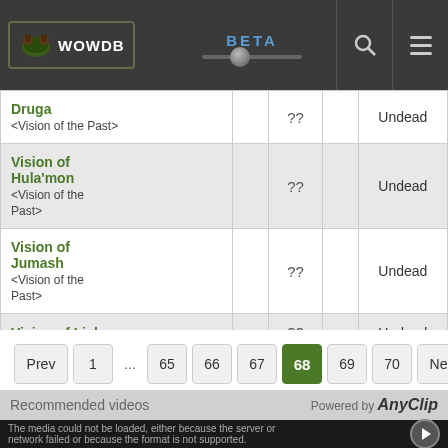WOWDB BETA
| Name |  | Level |  | Race |
| --- | --- | --- | --- | --- |
| Druga <Vision of the Past> |  | ?? |  | Undead |
| Vision of Hula'mon <Vision of the Past> |  | ?? |  | Undead |
| Vision of Jumash <Vision of the Past> |  | ?? |  | Undead |
| Vision of Lich |  | ?? |  | Undead |
Prev 1 ... 65 66 67 68 69 70 Next
Recommended videos
Powered by AnyClip
The media could not be loaded, either because the server or network failed or because the format is not supported.